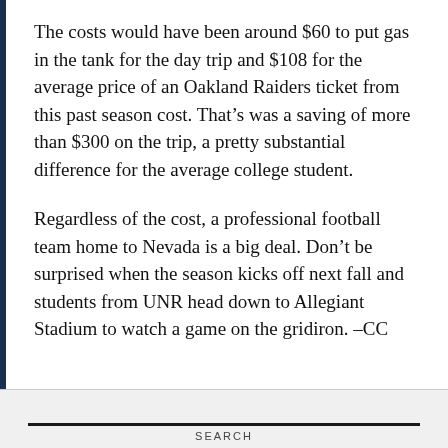The costs would have been around $60 to put gas in the tank for the day trip and $108 for the average price of an Oakland Raiders ticket from this past season cost. That’s was a saving of more than $300 on the trip, a pretty substantial difference for the average college student.
Regardless of the cost, a professional football team home to Nevada is a big deal. Don’t be surprised when the season kicks off next fall and students from UNR head down to Allegiant Stadium to watch a game on the gridiron. –CC